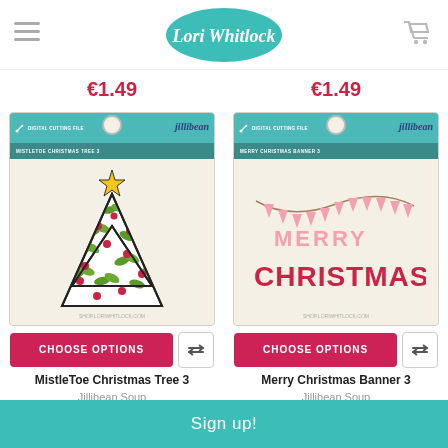Lori Whitlock
€1.49
€1.49
[Figure (photo): Jillibean Soup digital cutting file packaging showing a Mistletoe Christmas Tree 3 design — a triangular Christmas tree with green holly leaves and red berries, topped with a yellow star, on cream/beige background]
[Figure (photo): Jillibean Soup digital cutting file packaging showing a Merry Christmas Banner 3 design — bunting banner with 'MERRY' in pink and 'CHRISTMAS' in dark red/crimson letters, on cream/beige background]
CHOOSE OPTIONS
CHOOSE OPTIONS
MistleToe Christmas Tree 3
Merry Christmas Banner 3
Jillibean Soup
Jillibean Soup
Sign up!